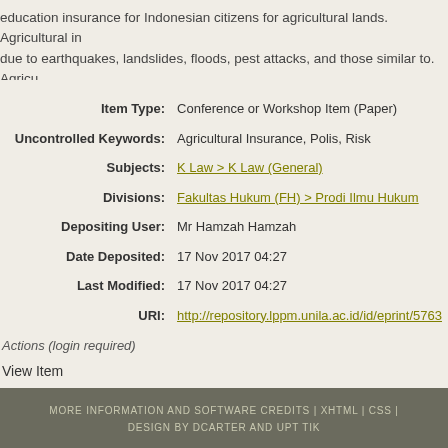education insurance for Indonesian citizens for agricultural lands. Agricultural insurance due to earthquakes, landslides, floods, pest attacks, and those similar to. Agricultural insurance instrument to protect the interests of farmers and provide hope after the disaster.
| Field | Value |
| --- | --- |
| Item Type: | Conference or Workshop Item (Paper) |
| Uncontrolled Keywords: | Agricultural Insurance, Polis, Risk |
| Subjects: | K Law > K Law (General) |
| Divisions: | Fakultas Hukum (FH) > Prodi Ilmu Hukum |
| Depositing User: | Mr Hamzah Hamzah |
| Date Deposited: | 17 Nov 2017 04:27 |
| Last Modified: | 17 Nov 2017 04:27 |
| URI: | http://repository.lppm.unila.ac.id/id/eprint/5763 |
Actions (login required)
View Item
MORE INFORMATION AND SOFTWARE CREDITS | XHTML | CSS | DESIGN BY DCARTER AND UPT TIK